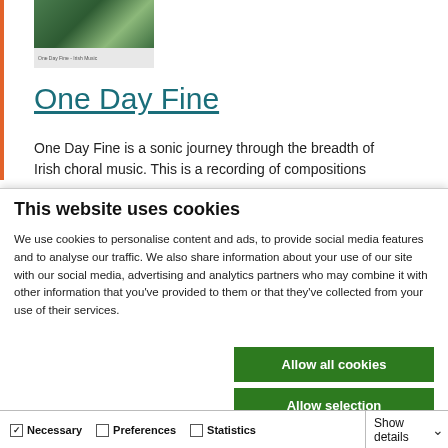[Figure (screenshot): Thumbnail image of a webpage showing a nature/green scene at top and light gray content area below with small text]
One Day Fine
One Day Fine is a sonic journey through the breadth of Irish choral music. This is a recording of compositions
This website uses cookies
We use cookies to personalise content and ads, to provide social media features and to analyse our traffic. We also share information about your use of our site with our social media, advertising and analytics partners who may combine it with other information that you've provided to them or that they've collected from your use of their services.
Allow all cookies
Allow selection
Use necessary cookies only
Necessary  Preferences  Statistics  Marketing  Show details